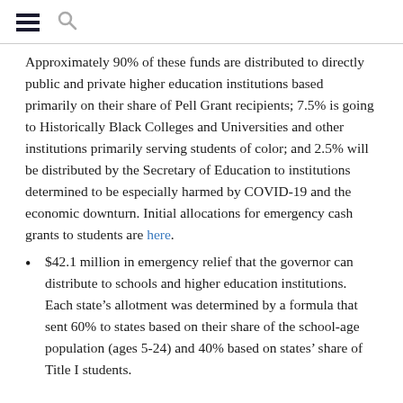Approximately 90% of these funds are distributed to directly public and private higher education institutions based primarily on their share of Pell Grant recipients; 7.5% is going to Historically Black Colleges and Universities and other institutions primarily serving students of color; and 2.5% will be distributed by the Secretary of Education to institutions determined to be especially harmed by COVID-19 and the economic downturn. Initial allocations for emergency cash grants to students are here.
$42.1 million in emergency relief that the governor can distribute to schools and higher education institutions. Each state’s allotment was determined by a formula that sent 60% to states based on their share of the school-age population (ages 5-24) and 40% based on states’ share of Title I students.